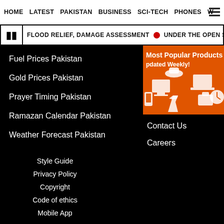HOME  LATEST  PAKISTAN  BUSINESS  SCI-TECH  PHONES  W
FLOOD RELIEF, DAMAGE ASSESSMENT  •  UNDER THE OPEN SKY, ALL THEY NEED IS
Fuel Prices Pakistan
Gold Prices Pakistan
Prayer Timing Pakistan
Ramazan Calendar Pakistan
Weather Forecast Pakistan
[Figure (illustration): Orange banner with white silhouette icons of products (laptop, hat, monitor, camera, clock, dress, phone) and text 'Most Popular Products Updated Weekly!']
Contact Us
Careers
Style Guide
Privacy Policy
Copyright
Code of ethics
Mobile App
FOLLOW US